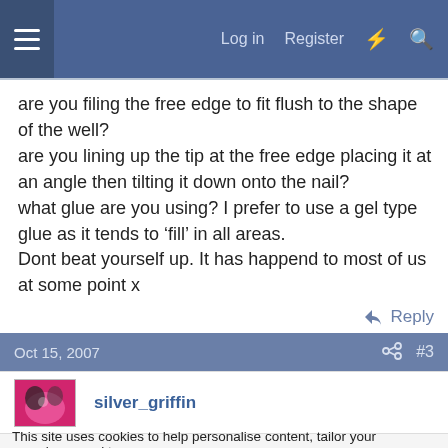Log in  Register
are you filing the free edge to fit flush to the shape of the well?
are you lining up the tip at the free edge placing it at an angle then tilting it down onto the nail?
what glue are you using? I prefer to use a gel type glue as it tends to 'fill' in all areas.
Dont beat yourself up. It has happend to most of us at some point x
Reply
Oct 15, 2007  #3
silver_griffin
This site uses cookies to help personalise content, tailor your experience and to
Report Ad